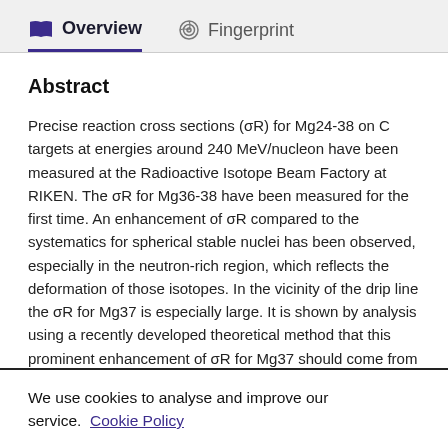Overview   Fingerprint
Abstract
Precise reaction cross sections (σR) for Mg24-38 on C targets at energies around 240 MeV/nucleon have been measured at the Radioactive Isotope Beam Factory at RIKEN. The σR for Mg36-38 have been measured for the first time. An enhancement of σR compared to the systematics for spherical stable nuclei has been observed, especially in the neutron-rich region, which reflects the deformation of those isotopes. In the vicinity of the drip line the σR for Mg37 is especially large. It is shown by analysis using a recently developed theoretical method that this prominent enhancement of σR for Mg37 should come from the
We use cookies to analyse and improve our service. Cookie Policy